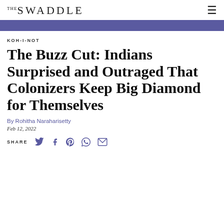THE SWADDLE
KOH-I-NOT
The Buzz Cut: Indians Surprised and Outraged That Colonizers Keep Big Diamond for Themselves
By Rohitha Naraharisetty
Feb 12, 2022
SHARE